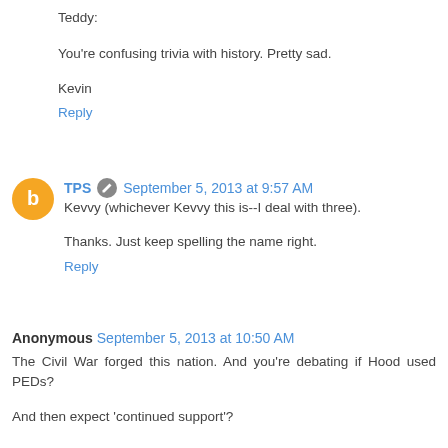Teddy:
You're confusing trivia with history. Pretty sad.
Kevin
Reply
TPS  September 5, 2013 at 9:57 AM
Kevvy (whichever Kevvy this is--I deal with three).
Thanks. Just keep spelling the name right.
Reply
Anonymous  September 5, 2013 at 10:50 AM
The Civil War forged this nation. And you're debating if Hood used PEDs?
And then expect 'continued support'?